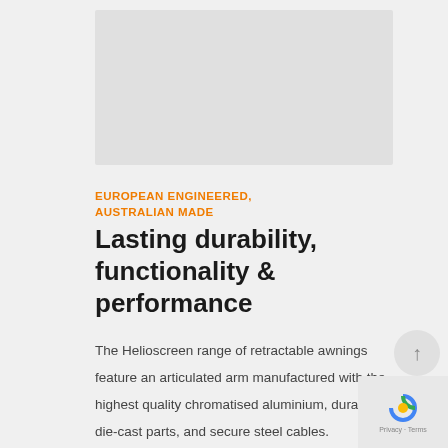[Figure (photo): Product image placeholder area — light grey box on light grey background]
EUROPEAN ENGINEERED, AUSTRALIAN MADE
Lasting durability, functionality & performance
The Helioscreen range of retractable awnings feature an articulated arm manufactured with the highest quality chromatised aluminium, durable die-cast parts, and secure steel cables.